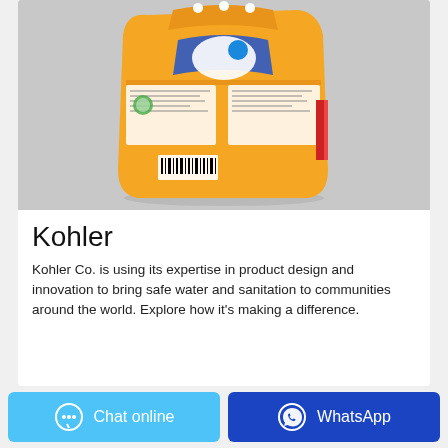[Figure (photo): Orange laundry detergent powder bag product, back view, on a light gray background]
Kohler
Kohler Co. is using its expertise in product design and innovation to bring safe water and sanitation to communities around the world. Explore how it's making a difference.
Chat online
WhatsApp